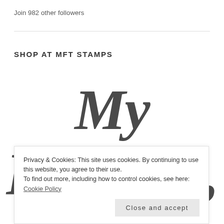Join 982 other followers
SHOP AT MFT STAMPS
[Figure (logo): My Favorite script logo text in large dark gray cursive font, partially visible]
Privacy & Cookies: This site uses cookies. By continuing to use this website, you agree to their use.
To find out more, including how to control cookies, see here: Cookie Policy
Close and accept